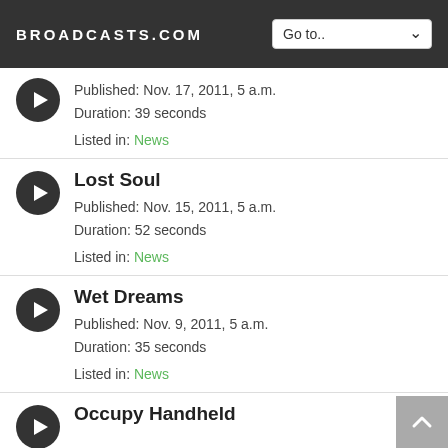BROADCASTS.COM
Published: Nov. 17, 2011, 5 a.m.
Duration: 39 seconds
Listed in: News
Lost Soul
Published: Nov. 15, 2011, 5 a.m.
Duration: 52 seconds
Listed in: News
Wet Dreams
Published: Nov. 9, 2011, 5 a.m.
Duration: 35 seconds
Listed in: News
Occupy Handheld